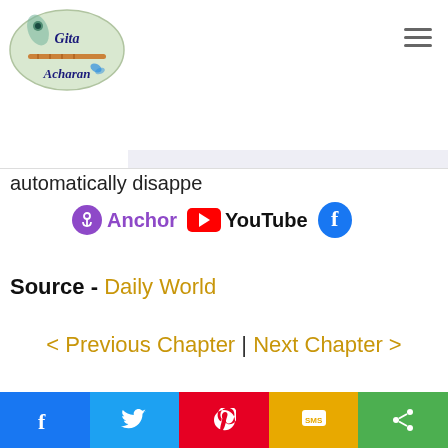[Figure (logo): Gita Acharan logo — oval shape with peacock feather and flute, script text 'Gita Acharan']
automatically disappe...
[Figure (logo): Anchor podcast logo, YouTube logo, and Facebook icon — social media sharing icons]
Source - Daily World
< Previous Chapter | Next Chapter >
© Copyright Gita Acharan. All Rights Reserved
Crafted by Ramneek
[Figure (infographic): Social share bar with Facebook, Twitter, Pinterest, SMS, and Share buttons]